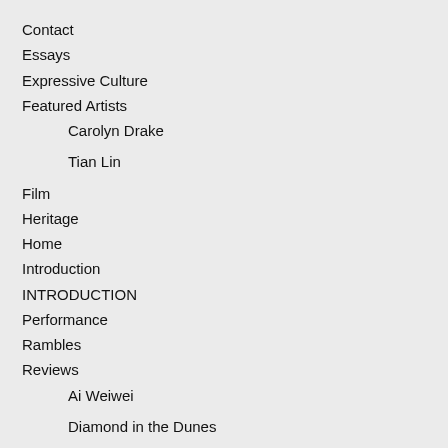Contact
Essays
Expressive Culture
Featured Artists
Carolyn Drake
Tian Lin
Film
Heritage
Home
Introduction
INTRODUCTION
Performance
Rambles
Reviews
Ai Weiwei
Diamond in the Dunes
I am from Xinjiang